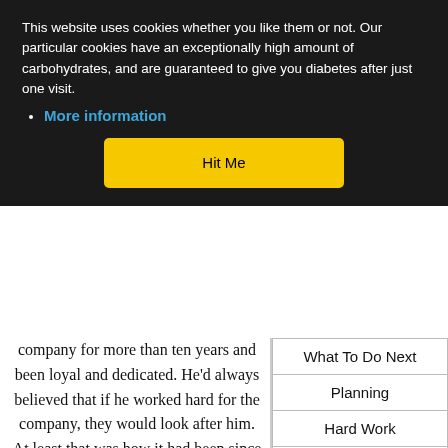This website uses cookies whether you like them or not. Our particular cookies have an exceptionally high amount of carbohydrates, and are guaranteed to give you diabetes after just one visit.
More information
Hit Me
company for more than ten years and been loyal and dedicated. He'd always believed that if he worked hard for the company, they would look after him. At least that was how it had been since the dark ages.
| What To Do Next |
| Planning |
| Hard Work |
| Cut Loose |
| All Pages |
Somewhere in the back of his mind, he felt that something was not right. The company was not making as much money these days, due to such things as increased global competition and sudden